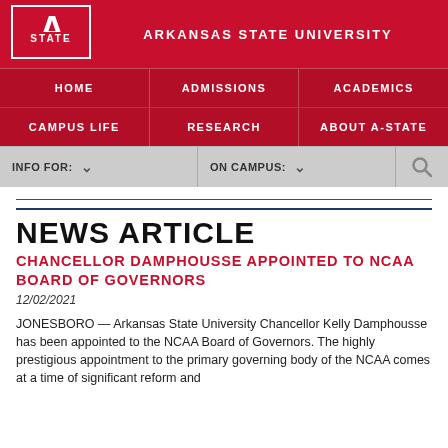[Figure (logo): Arkansas State University 'A' logo in red and white with 'STATE' text]
ARKANSAS STATE UNIVERSITY
HOME | ADMISSIONS | ACADEMICS | CAMPUS LIFE | RESEARCH | ABOUT A-STATE
INFO FOR: ▾  ON CAMPUS: ▾  🔍
NEWS ARTICLE
CHANCELLOR DAMPHOUSSE APPOINTED TO NCAA BOARD OF GOVERNORS
12/02/2021
JONESBORO — Arkansas State University Chancellor Kelly Damphousse has been appointed to the NCAA Board of Governors. The highly prestigious appointment to the primary governing body of the NCAA comes at a time of significant reform and